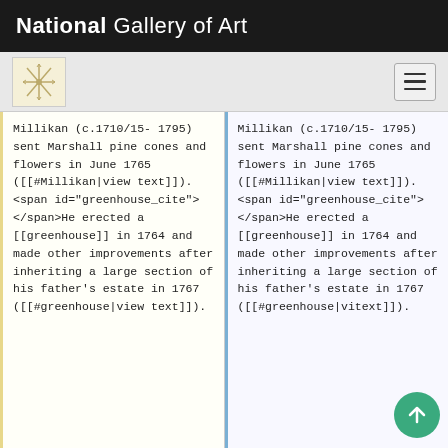National Gallery of Art
Millikan (c.1710/15-1795)  sent Marshall pine cones and flowers in June 1765 ([[#Millikan|view text]]). <span id="greenhouse_cite"></span>He erected a [[greenhouse]] in 1764 and made other improvements after inheriting a large section of his father's estate in 1767 ([[#greenhouse|view text]]).
Millikan (c.1710/15-1795)  sent Marshall pine cones and flowers in June 1765 ([[#Millikan|view text]]). <span id="greenhouse_cite"></span>He erected a [[greenhouse]] in 1764 and made other improvements after inheriting a large section of his father's estate in 1767 ([[#greenhouse|vi… text]]).